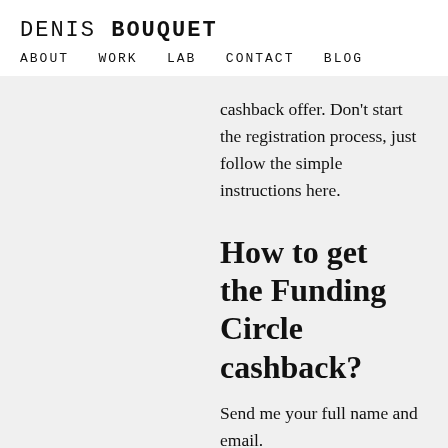DENIS BOUQUET
ABOUT  WORK  LAB  CONTACT  BLOG
cashback offer. Don't start the registration process, just follow the simple instructions here.
How to get the Funding Circle cashback?
Send me your full name and email.
Make sure you respect the condition below:
– Be a new member
– Register through the email you will receive with the email address you provided
– Lend more than £1000 before the limit